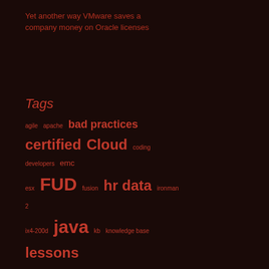Yet another way VMware saves a company money on Oracle licenses
Tags
agile apache bad practices certified Cloud coding developers emc esx FUD fusion hr data ironman 2 ix4-200d java kb knowledge base lessons licensing linux macbook pro mbp migration oel ol oracle oracle ebs oracle vm performance pvscsi redhat rhel scramble snapshots support supported ucm uek